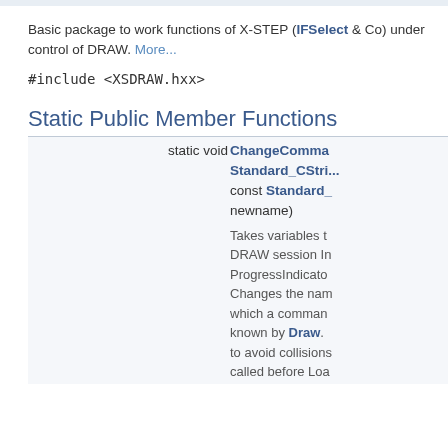Basic package to work functions of X-STEP (IFSelect & Co) under control of DRAW. More...
#include <XSDRAW.hxx>
Static Public Member Functions
|  |  |
| --- | --- |
| static void | ChangeComma... Standard_CStri... const Standard_... newname)
Takes variables t... DRAW session In... ProgressIndicato... Changes the nam... which a comman... known by Draw.... to avoid collisions... called before Loa... |